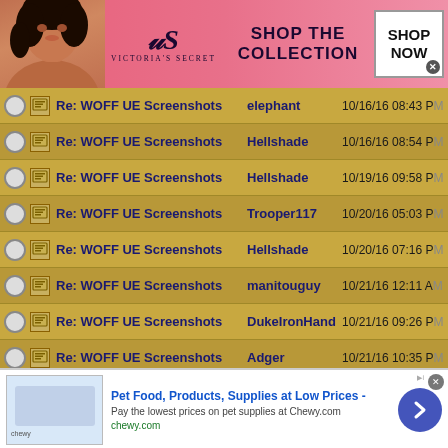[Figure (screenshot): Victoria's Secret advertisement banner: pink background with model, VS logo, 'SHOP THE COLLECTION' text, and 'SHOP NOW' button]
Re: WOFF UE Screenshots | elephant | 10/16/16 08:43 PM
Re: WOFF UE Screenshots | Hellshade | 10/16/16 08:54 PM
Re: WOFF UE Screenshots | Hellshade | 10/19/16 09:58 PM
Re: WOFF UE Screenshots | Trooper117 | 10/20/16 05:03 PM
Re: WOFF UE Screenshots | Hellshade | 10/20/16 07:16 PM
Re: WOFF UE Screenshots | manitouguy | 10/21/16 12:11 AM
Re: WOFF UE Screenshots | DukeIronHand | 10/21/16 09:26 PM
Re: WOFF UE Screenshots | Adger | 10/21/16 10:35 PM
Re: WOFF UE Screenshots | DukeIronHand | 10/21/16 10:56 PM
Re: WOFF UE | Adger | 10/21/16 11:...
[Figure (screenshot): Chewy.com advertisement: Pet Food, Products, Supplies at Low Prices - Pay the lowest prices on pet supplies at Chewy.com, chewy.com URL, with navigation arrow button]